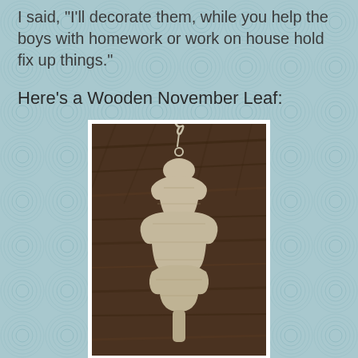I said, "I'll decorate them, while you help the boys with homework or work on house hold fix up things."
Here's a Wooden November Leaf:
[Figure (photo): A wooden ornament shaped like a layered leaf or tree, with a string loop at the top, resting on a dark wood surface. The ornament is light-colored wood with visible grain.]